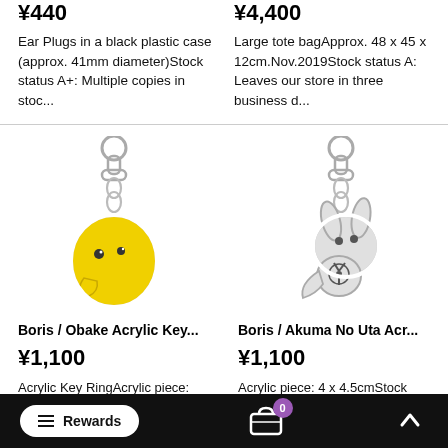¥440
¥4,400
Ear Plugs in a black plastic case (approx. 41mm diameter)Stock status A+: Multiple copies in stoc...
Large tote bagApprox. 48 x 45 x 12cm.Nov.2019Stock status A: Leaves our store in three business d...
[Figure (photo): Yellow ghost/bird acrylic keychain with silver metal keyring clasp]
[Figure (photo): Gray bunny/ghost acrylic keychain with silver metal keyring clasp]
Boris / Obake Acrylic Key...
Boris / Akuma No Uta Acr...
¥1,100
¥1,100
Acrylic Key RingAcrylic piece: 3.3 x 4.5cmStock status A+:
Acrylic piece: 4 x 4.5cmStock status A+: Multiple copies in
Rewards   0   ^